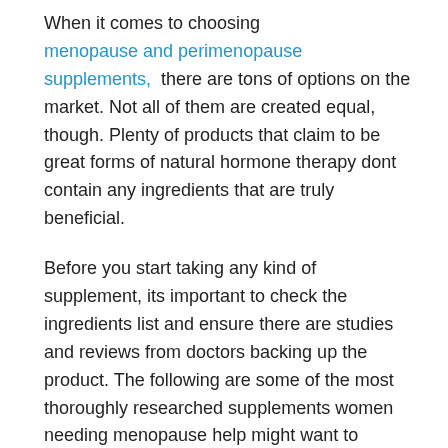When it comes to choosing menopause and perimenopause supplements, there are tons of options on the market. Not all of them are created equal, though. Plenty of products that claim to be great forms of natural hormone therapy dont contain any ingredients that are truly beneficial.
Before you start taking any kind of supplement, its important to check the ingredients list and ensure there are studies and reviews from doctors backing up the product. The following are some of the most thoroughly researched supplements women needing menopause help might want to consider:
Don't Miss: Is Dizziness A Symptom Of Perimenopause
Menopause Relief + Mood From Estroven